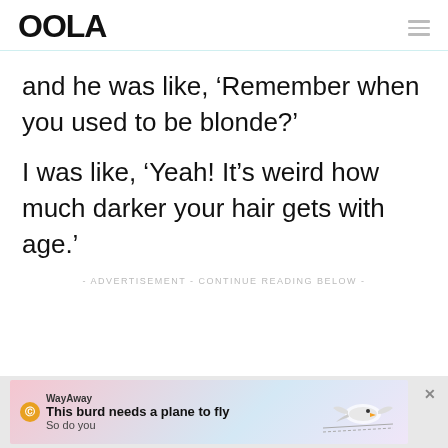OOLA
and he was like, ‘Remember when you used to be blonde?’
I was like, ‘Yeah! It’s weird how much darker your hair gets with age.’
- ADVERTISEMENT - CONTINUE READING BELOW -
[Figure (other): WayAway advertisement banner: 'This burd needs a plane to fly / So do you' with bird illustration]